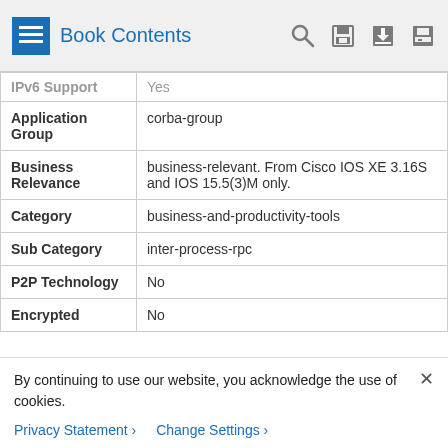Book Contents
| Field | Value |
| --- | --- |
| IPv6 Support | Yes |
| Application Group | corba-group |
| Business Relevance | business-relevant. From Cisco IOS XE 3.16S and IOS 15.5(3)M only. |
| Category | business-and-productivity-tools |
| Sub Category | inter-process-rpc |
| P2P Technology | No |
| Encrypted | No |
By continuing to use our website, you acknowledge the use of cookies.
Privacy Statement › Change Settings ›